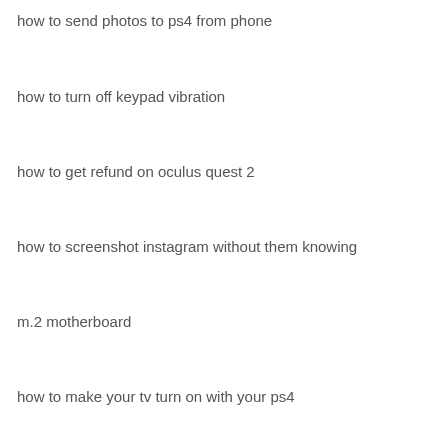how to send photos to ps4 from phone
how to turn off keypad vibration
how to get refund on oculus quest 2
how to screenshot instagram without them knowing
m.2 motherboard
how to make your tv turn on with your ps4
how to turn off subtitles on facebook videos android